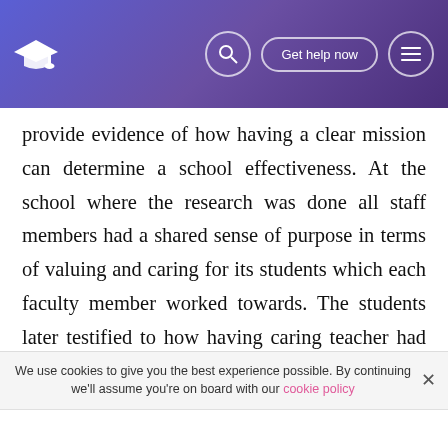Graduation cap logo | Search | Get help now | Menu
provide evidence of how having a clear mission can determine a school effectiveness. At the school where the research was done all staff members had a shared sense of purpose in terms of valuing and caring for its students which each faculty member worked towards. The students later testified to how having caring teacher had an impact on their academic achievement. One student claimed that without the invention of the teachers he would not have completed high school or gotten the grades he got. In this instance it showed how a focus in the right direction can determine the achievement and learning outcome of students.
We use cookies to give you the best experience possible. By continuing we'll assume you're on board with our cookie policy